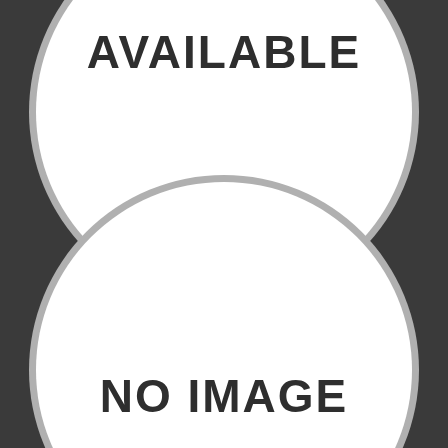[Figure (illustration): Placeholder image graphic with dark background, two large white circles (top and bottom), and text 'AVAILABLE' in the top circle and 'NO IMAGE' in the bottom circle.]